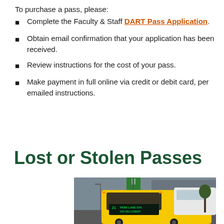To purchase a pass, please:
Complete the Faculty & Staff DART Pass Application.
Obtain email confirmation that your application has been received.
Review instructions for the cost of your pass.
Make payment in full online via credit or debit card, per emailed instructions.
Lost or Stolen Passes
[Figure (photo): A yellow DART bus with route 21 PARK LANE STA VIA HILLCREST displayed on its destination board, parked at a transit station with a green banner visible in the background.]